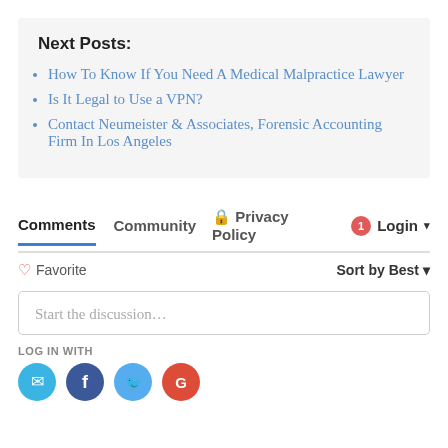Next Posts:
How To Know If You Need A Medical Malpractice Lawyer
Is It Legal to Use a VPN?
Contact Neumeister & Associates, Forensic Accounting Firm In Los Angeles
Comments   Community   Privacy Policy   1   Login
Favorite   Sort by Best
Start the discussion…
LOG IN WITH